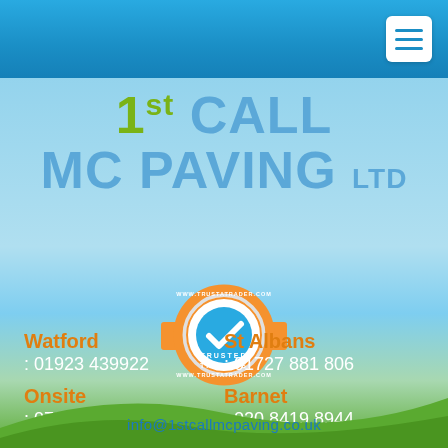[Figure (logo): 1st Call MC Paving Ltd company logo with green and blue text]
[Figure (logo): Trusted Traders badge with orange ribbon, white circle, blue tick mark, and www.trustatrader.com text]
Watford
: 01923 439922
St Albans
: 01727 881 806
Onsite
: 07867 676 260
Barnet
: 020 8419 8944
info@1stcallmcpaving.co.uk